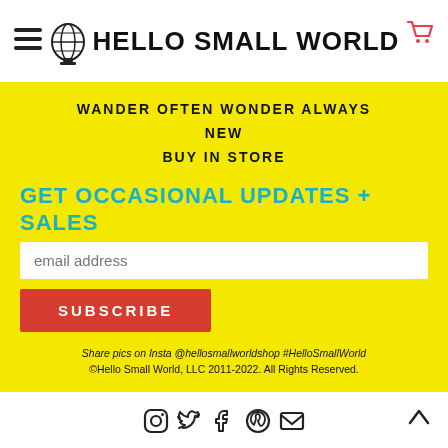Hello Small World
WANDER OFTEN WONDER ALWAYS
NEW
BUY IN STORE
GET OCCASIONAL UPDATES + SALES
email address
SUBSCRIBE
Share pics on Insta @hellosmallworldshop #HelloSmallWorld
©Hello Small World, LLC 2011-2022. All Rights Reserved.